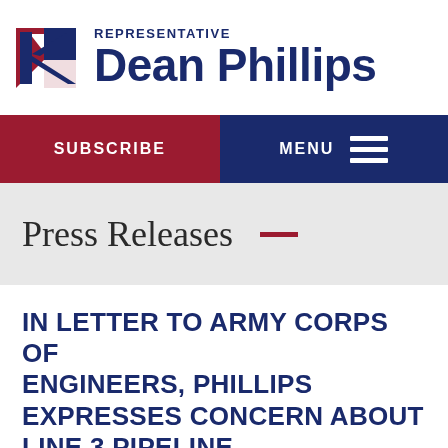[Figure (logo): Representative Dean Phillips logo with angular B-like icon in red and blue, and text 'REPRESENTATIVE Dean Phillips' in dark navy]
SUBSCRIBE | MENU
Press Releases —
IN LETTER TO ARMY CORPS OF ENGINEERS, PHILLIPS EXPRESSES CONCERN ABOUT LINE 3 PIPELINE